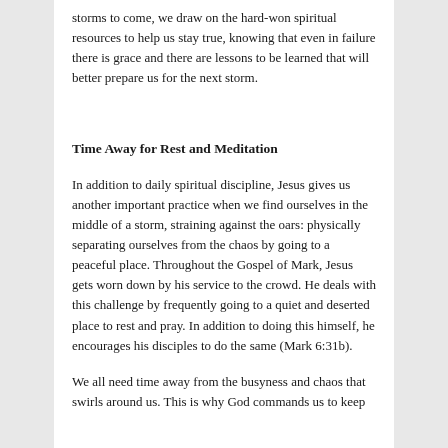storms to come, we draw on the hard-won spiritual resources to help us stay true, knowing that even in failure there is grace and there are lessons to be learned that will better prepare us for the next storm.
Time Away for Rest and Meditation
In addition to daily spiritual discipline, Jesus gives us another important practice when we find ourselves in the middle of a storm, straining against the oars: physically separating ourselves from the chaos by going to a peaceful place. Throughout the Gospel of Mark, Jesus gets worn down by his service to the crowd. He deals with this challenge by frequently going to a quiet and deserted place to rest and pray. In addition to doing this himself, he encourages his disciples to do the same (Mark 6:31b).
We all need time away from the busyness and chaos that swirls around us. This is why God commands us to keep